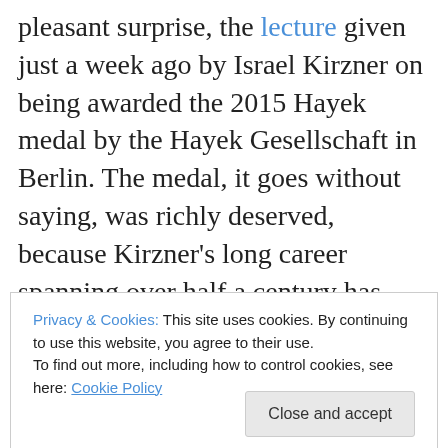pleasant surprise, the lecture given just a week ago by Israel Kirzner on being awarded the 2015 Hayek medal by the Hayek Gesellschaft in Berlin. The medal, it goes without saying, was richly deserved, because Kirzner's long career spanning over half a century has produced hundreds of articles and many books elucidating many important concepts in various areas of economics, but especially on the role of competition and entrepreneurship (the title of his best known book) in theory and in practice. A student of Ludwig von Mises, when Mises was at NYU in the 1950s, Kirzner was able to recast and rework Mises's
Privacy & Cookies: This site uses cookies. By continuing to use this website, you agree to their use. To find out more, including how to control cookies, see here: Cookie Policy
a substantial market niche in which such didacticism and